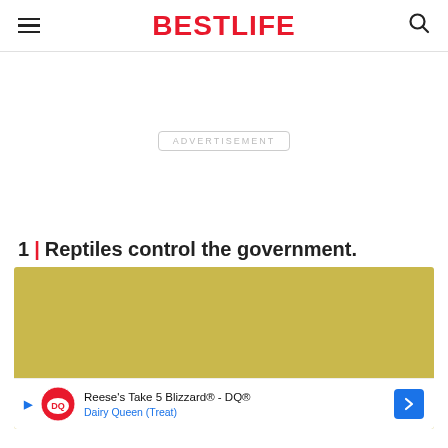BESTLIFE
[Figure (other): Advertisement placeholder area with 'ADVERTISEMENT' label in a rounded rectangle border]
1 | Reptiles control the government.
[Figure (photo): Olive/gold colored image area with an advertisement banner for Reese's Take 5 Blizzard - DQ® from Dairy Queen (Treat)]